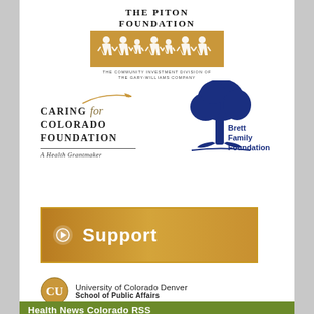[Figure (logo): The Piton Foundation logo with golden banner showing silhouette figures, tagline: The Community Investment Division of the Gary-Williams Company]
[Figure (logo): Caring for Colorado Foundation - A Health Grantmaker logo]
[Figure (logo): Brett Family Foundation logo with blue tree silhouette]
[Figure (other): Orange/gold Support button with arrow and text 'Support']
[Figure (logo): University of Colorado Denver School of Public Affairs logo]
Health News Colorado RSS